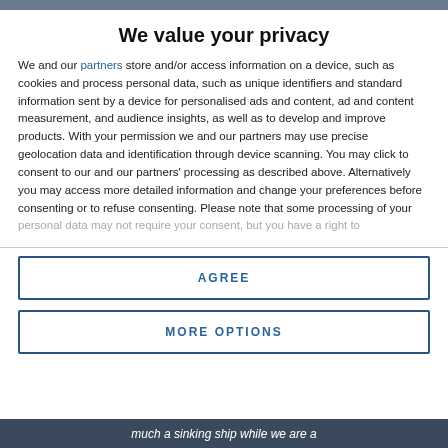We value your privacy
We and our partners store and/or access information on a device, such as cookies and process personal data, such as unique identifiers and standard information sent by a device for personalised ads and content, ad and content measurement, and audience insights, as well as to develop and improve products. With your permission we and our partners may use precise geolocation data and identification through device scanning. You may click to consent to our and our partners' processing as described above. Alternatively you may access more detailed information and change your preferences before consenting or to refuse consenting. Please note that some processing of your personal data may not require your consent, but you have a right to
AGREE
MORE OPTIONS
much a sinking ship while we are a